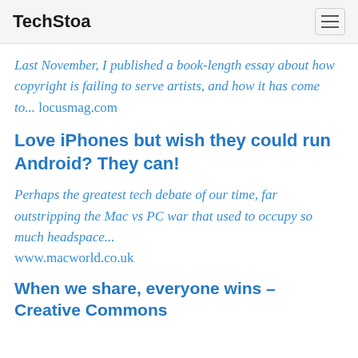TechStoa
Last November, I published a book-length essay about how copyright is failing to serve artists, and how it has come to... locusmag.com
Love iPhones but wish they could run Android? They can!
Perhaps the greatest tech debate of our time, far outstripping the Mac vs PC war that used to occupy so much headspace... www.macworld.co.uk
When we share, everyone wins – Creative Commons